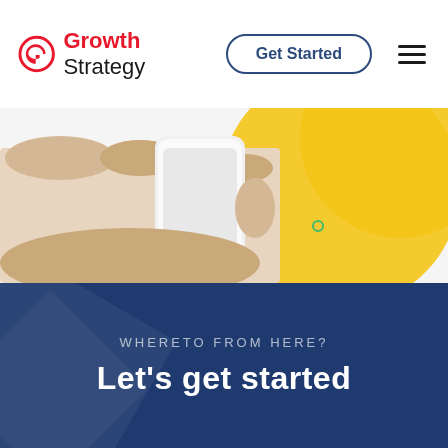[Figure (logo): Growth Strategy logo with red circular G icon and text]
Get Started
[Figure (photo): Hand holding a white smartphone against a yellow circular backdrop on a light background, with a small green circle accent]
WHERETO FROM HERE?
Let's get started